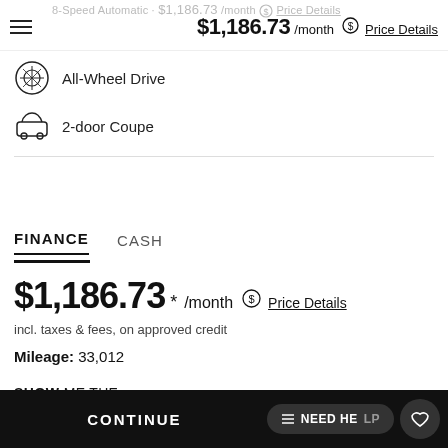8-Speed Automatic · $1,186.73 /month · Price Details
All-Wheel Drive
2-door Coupe
FINANCE   CASH
$1,186.73 * /month  Price Details
incl. taxes & fees, on approved credit
Mileage: 33,012
SHOW ME THE CARFAX
CONTINUE   NEED HELP